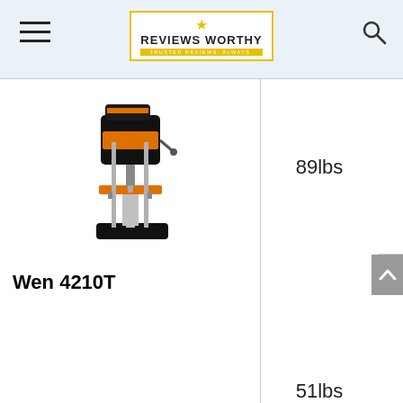Reviews Worthy — Trusted Reviews. Always.
[Figure (photo): WEN drill press machine with black and orange color scheme, floor-standing model]
89lbs
Wen 4210T
51lbs